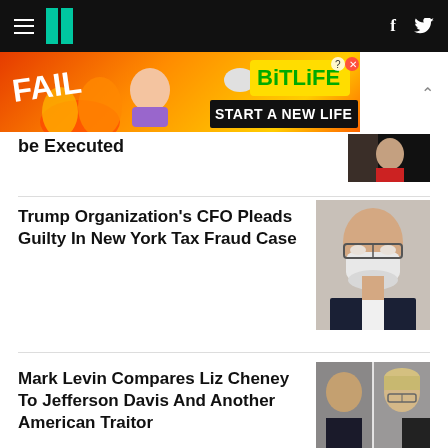HuffPost navigation with hamburger menu and logo
[Figure (photo): Advertisement banner: BitLife 'FAIL - START A NEW LIFE' game ad with animated character and fire graphics on orange/red background]
be Executed
[Figure (photo): Partial thumbnail of a person in dark clothing]
Trump Organization's CFO Pleads Guilty In New York Tax Fraud Case
[Figure (photo): Photo of a bald man wearing glasses and a white face mask in a suit]
Mark Levin Compares Liz Cheney To Jefferson Davis And Another American Traitor
[Figure (photo): Split photo of Mark Levin (left, bald man) and Liz Cheney (right, blonde woman with glasses)]